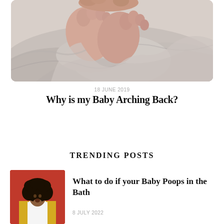[Figure (photo): Close-up photo of baby feet wrapped in a white blanket/cloth]
18 JUNE 2019
Why is my Baby Arching Back?
TRENDING POSTS
[Figure (photo): Woman with curly afro hair against a red background, covering her mouth with her hand, wearing a yellow cardigan]
What to do if your Baby Poops in the Bath
8 JULY 2022